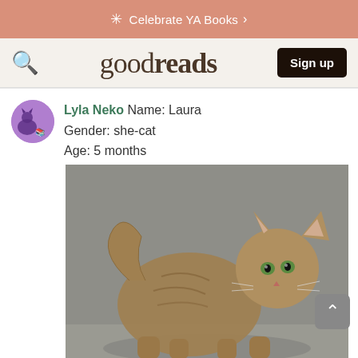Celebrate YA Books >
goodreads  Sign up
Lyla Neko Name: Laura
Gender: she-cat
Age: 5 months
[Figure (photo): A fluffy tabby kitten standing in profile, looking toward the camera with green eyes, against a grey background.]
Pelt: